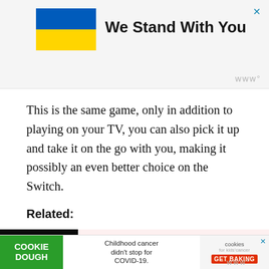[Figure (infographic): Advertisement banner with Ukrainian flag (blue and yellow) and text 'We Stand With You' on a light gray background. Close X button in top right. Small logo watermark bottom right.]
This is the same game, only in addition to playing on your TV, you can also pick it up and take it on the go with you, making it possibly an even better choice on the Switch.
Related:
[Figure (photo): Dark image of colorful Nintendo game screen, part of a related article thumbnail.]
The 10 Best Free Nintendo Switch Games on the Nintendo
[Figure (infographic): Bottom advertisement banner: Cookie Dough (green background), 'Childhood cancer didn't stop for COVID-19.' text, cookies for kids cancer logo, GET BAKING button.]